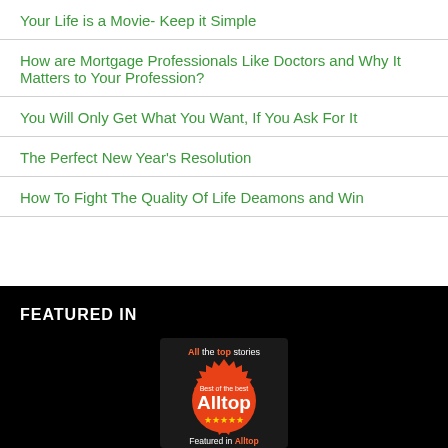Your Life is a Movie- Keep it Simple
How are Mortgage Professionals Like Doctors and Why It Matters to Your Profession?
You Will Only Get What You Want, If You Ask For It
The Perfect New Year's Resolution
How To Fight The Quality Of Life Deamons and Win
FEATURED IN
[Figure (logo): Alltop badge - 'All the top stories - Best of the best - Alltop - Featured in Alltop' with orange starburst on dark background]